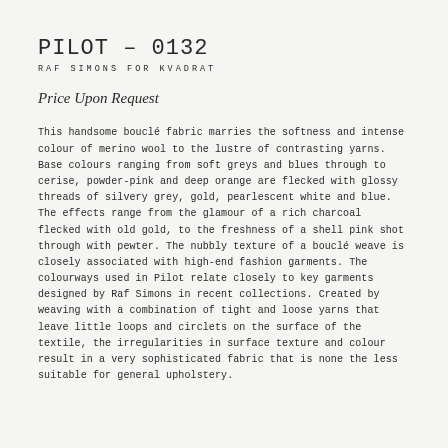PILOT – 0132
RAF SIMONS FOR KVADRAT
Price Upon Request
This handsome bouclé fabric marries the softness and intense colour of merino wool to the lustre of contrasting yarns. Base colours ranging from soft greys and blues through to cerise, powder-pink and deep orange are flecked with glossy threads of silvery grey, gold, pearlescent white and blue. The effects range from the glamour of a rich charcoal flecked with old gold, to the freshness of a shell pink shot through with pewter. The nubbly texture of a bouclé weave is closely associated with high-end fashion garments. The colourways used in Pilot relate closely to key garments designed by Raf Simons in recent collections. Created by weaving with a combination of tight and loose yarns that leave little loops and circlets on the surface of the textile, the irregularities in surface texture and colour result in a very sophisticated fabric that is none the less suitable for general upholstery.